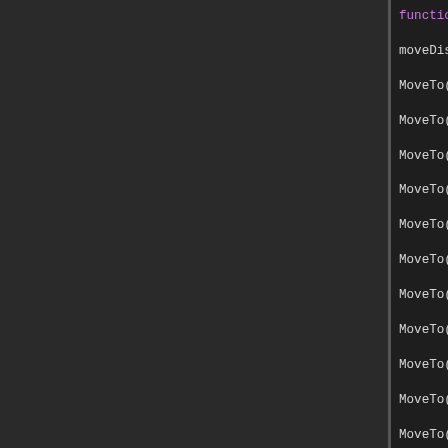[Figure (screenshot): Code editor screenshot showing Lua/scripting code with dark theme. Left panel is a dark sidebar. Right panel shows code with syntax highlighting: function zimenfToMion(), moveDistance = 30, multiple MoveTo() calls with coordinates, end, then function getItemCount(name), invList = GetInventory(), lol=0, for item in invList.list do, if (item.displayId == name or item, lol=item.ItemNum, end, end, (truncated)]